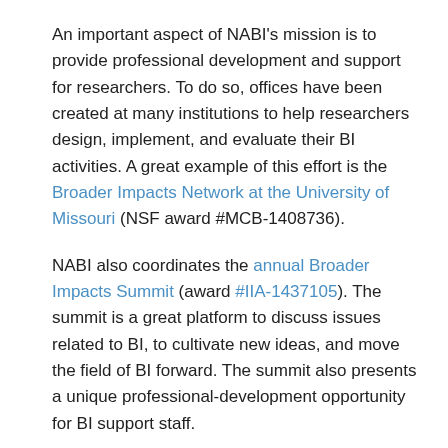An important aspect of NABI's mission is to provide professional development and support for researchers. To do so, offices have been created at many institutions to help researchers design, implement, and evaluate their BI activities. A great example of this effort is the Broader Impacts Network at the University of Missouri (NSF award #MCB-1408736).
NABI also coordinates the annual Broader Impacts Summit (award #IIA-1437105). The summit is a great platform to discuss issues related to BI, to cultivate new ideas, and move the field of BI forward. The summit also presents a unique professional-development opportunity for BI support staff.
When asked about the future of NABI, Dr. Susan D. Renoe, adjunct professor of anthropology at the University of Missouri and director of the Broader Impacts Network, responded:
“We will continue to provide high-quality professional development for individuals and broader impacts support for researchers through our